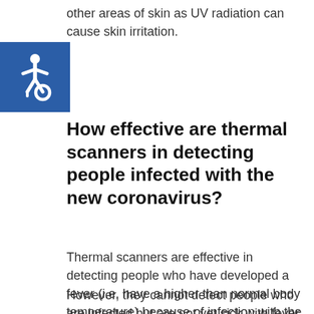other areas of skin as UV radiation can cause skin irritation.
[Figure (illustration): Accessibility wheelchair icon — white wheelchair symbol on blue square background]
How effective are thermal scanners in detecting people infected with the new coronavirus?
Thermal scanners are effective in detecting people who have developed a fever (i.e. have a higher than normal body temperature) because of infection with the new coronavirus.
However, they cannot detect people who are infected but are not yet sick with fever. This is because it takes between 2 and 10 days before someone infected by coronavirus is sick and develops a fever.